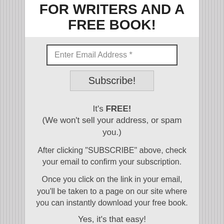for Writers AND A FREE BOOK!
[Figure (other): Email subscription form with text input field labeled 'Enter Email Address *' and a Subscribe! button]
It's FREE!
(We won't sell your address, or spam you.)
After clicking "SUBSCRIBE" above, check your email to confirm your subscription.
Once you click on the link in your email, you'll be taken to a page on our site where you can instantly download your free book.
Yes, it's that easy!
NOTE: If you don't receive our email,